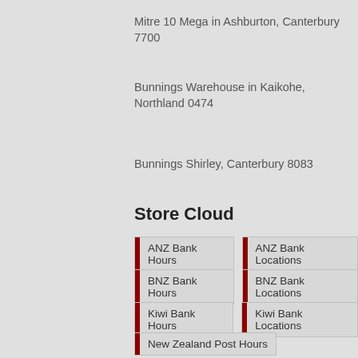Mitre 10 Mega in Ashburton, Canterbury 7700
Bunnings Warehouse in Kaikohe, Northland 0474
Bunnings Shirley, Canterbury 8083
Store Cloud
ANZ Bank Hours
ANZ Bank Locations
BNZ Bank Hours
BNZ Bank Locations
Kiwi Bank Hours
Kiwi Bank Locations
New Zealand Post Hours
New Zealand Post Locations
Paper Plus Hours
Paper Plus Locations
Subway Hours